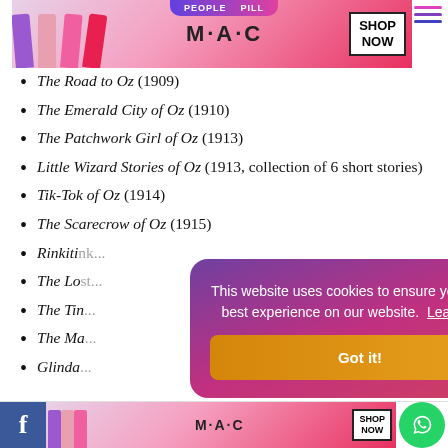[Figure (photo): MAC Cosmetics advertisement banner with lipsticks in purple, pink, hot pink and red colors, MAC logo, and SHOP NOW button in box]
The Road to Oz (1909)
The Emerald City of Oz (1910)
The Patchwork Girl of Oz (1913)
Little Wizard Stories of Oz (1913, collection of 6 short stories)
Tik-Tok of Oz (1914)
The Scarecrow of Oz (1915)
Rinkiti...
The Lo...
The Tin...
The Ma...
Glinda...
This website uses cookies to ensure you get the best experience on our website. Learn more
[Figure (photo): MAC Cosmetics advertisement banner at bottom with lipsticks, MAC logo, SHOP NOW button]